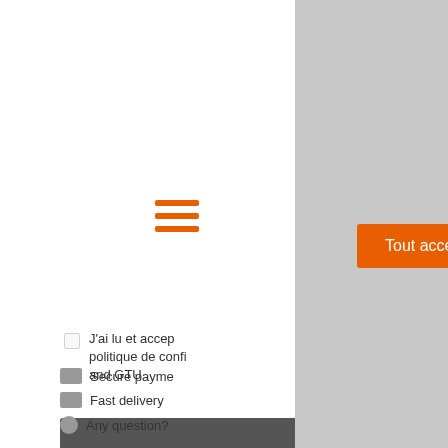[Figure (screenshot): Hamburger menu icon with three orange horizontal lines]
J'ai lu et accep... politique de confi... and GTU
Secure payme... Fast delivery... Any question?...
Vie privée & confidentialité
Ce site utilise des cookies afin d'assurer son fonctionnement technique, assurer la sécurité et vous offrir la meilleure expérience
Tout accepter
Refuser
More information
Configuration
Vous pouvez en savoir plus sur les cookies que nous utilisons (ou les désactiver à tout moment) en consultant les paramètres de votre